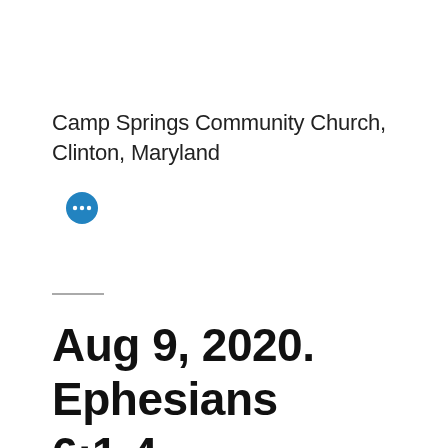Camp Springs Community Church, Clinton, Maryland
[Figure (other): Blue circular button with three white dots (more/ellipsis icon)]
Aug 9, 2020. Ephesians 6:1-4